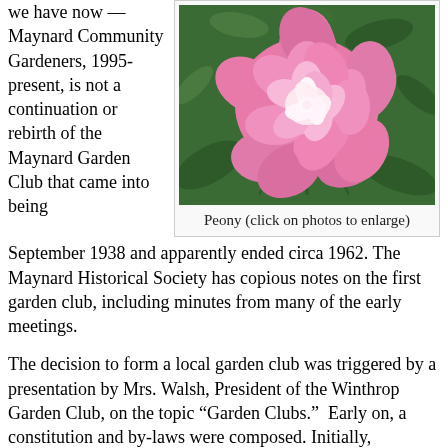we have now — Maynard Community Gardeners, 1995-present, is not a continuation or rebirth of the Maynard Garden Club that came into being September 1938 and apparently ended circa 1962. The Maynard Historical Society has copious notes on the first garden club, including minutes from many of the early meetings.
[Figure (photo): A large pink peony flower with lush green leaves in the background.]
Peony (click on photos to enlarge)
The decision to form a local garden club was triggered by a presentation by Mrs. Walsh, President of the Winthrop Garden Club, on the topic “Garden Clubs.”  Early on, a constitution and by-laws were composed. Initially, membership was limited to 25 and annual dues were $.50, later changed to 35 members and $1.00. Per the MGC constitution “The object of the Club shall be to stimulate the